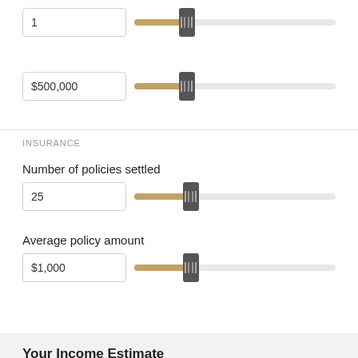1
[Figure (other): Slider control at position near start, value 1]
$500,000
[Figure (other): Slider control at position near start, value $500,000]
INSURANCE
Number of policies settled
25
[Figure (other): Slider control at position near start, value 25]
Average policy amount
$1,000
[Figure (other): Slider control at position near start, value $1,000]
Your Income Estimate
ANNUAL INCOME ESTIMATE
[Figure (other): Partial slider bar visible at bottom of page]